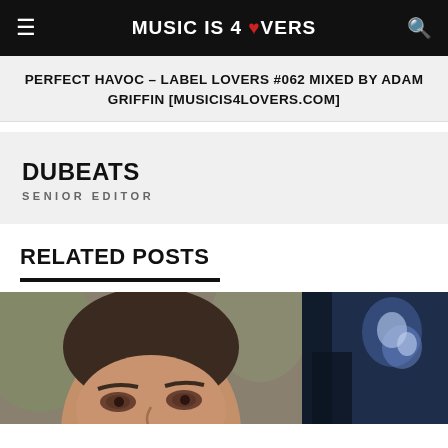MUSIC IS 4 LOVERS
PERFECT HAVOC – LABEL LOVERS #062 MIXED BY ADAM GRIFFIN [MUSICIS4LOVERS.COM]
DUBEATS
SENIOR EDITOR
RELATED POSTS
[Figure (photo): Close-up photo of a man's face looking upward, cropped at forehead level]
[Figure (photo): Partial photo with blue/dark tones, likely a DJ or stage lighting scene]